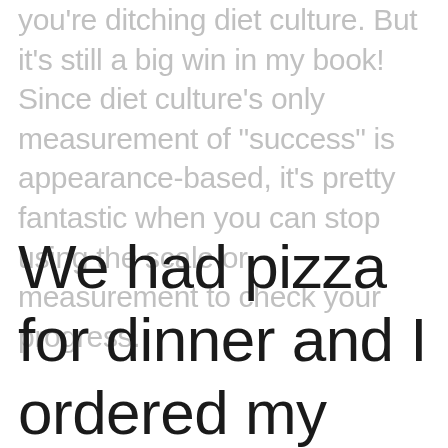you're ditching diet culture. But it's still a big win in my book! Since diet culture's only measurement of "success" is appearance-based, it's pretty fantastic when you can stop using the scale or measurement to check your progress.
We had pizza for dinner and I ordered my favorite topping